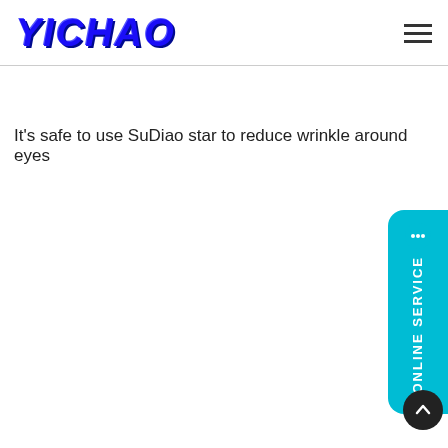YICHAO
It’s safe to use SuDiao star to reduce wrinkle around eyes
[Figure (other): Cyan online service tab on right side with vertical text ONLINE SERVICE and chat bubble icon, plus a dark circular scroll-to-top button at bottom right]